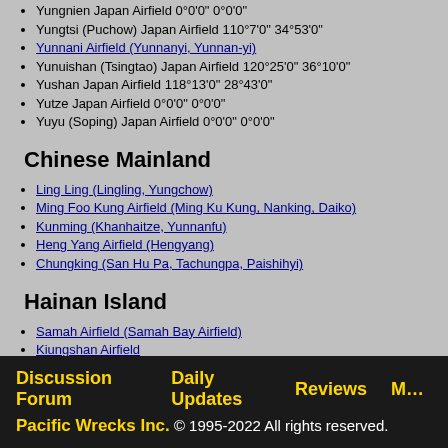Yungnien Japan Airfield 0°0'0" 0°0'0"
Yungtsi (Puchow) Japan Airfield 110°7'0" 34°53'0"
Yunnani Airfield (Yunnanyi, Yunnan-yi)
Yunuishan (Tsingtao) Japan Airfield 120°25'0" 36°10'0"
Yushan Japan Airfield 118°13'0" 28°43'0"
Yutze Japan Airfield 0°0'0" 0°0'0"
Yuyu (Soping) Japan Airfield 0°0'0" 0°0'0"
Chinese Mainland
Ling Ling (Lingling, Yungchow)
Ming Foo Kung Airfield (Ming Ku Kung, Nanking, Daiko)
Kunming (Khanhaitze, Yunnanfu)
Heng Yang Airfield (Hengyang)
Chungking (San Hu Pa, Tachungpa, Paishihyi)
Hainan Island
Samah Airfield (Samah Bay Airfield)
Kiungshan Airfield
Discussion Forum  Daily Updates  Reviews  M…  Pacific Wrecks Inc. © 1995-2022 All rights reserved.